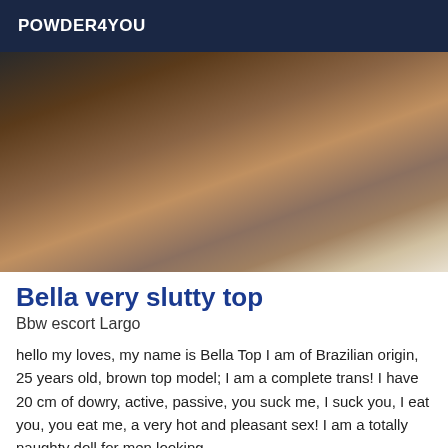POWDER4YOU
[Figure (photo): Close-up photo of a person with curly black hair, dark skin, wearing a gold bracelet, photographed from above in a bathroom or light-colored room setting.]
Bella very slutty top
Bbw escort Largo
hello my loves, my name is Bella Top I am of Brazilian origin, 25 years old, brown top model; I am a complete trans! I have 20 cm of dowry, active, passive, you suck me, I suck you, I eat you, you eat me, a very hot and pleasant sex! I am a totally naughty doll for men looking